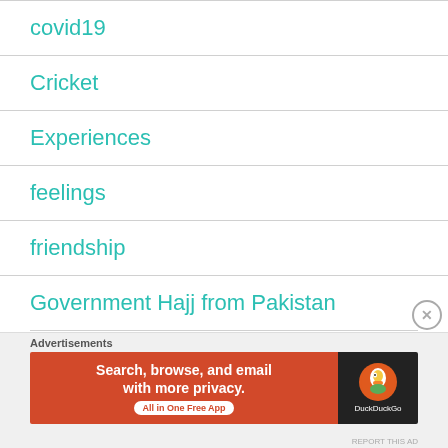covid19
Cricket
Experiences
feelings
friendship
Government Hajj from Pakistan
[Figure (screenshot): Advertisement banner for DuckDuckGo app: orange background with text 'Search, browse, and email with more privacy. All in One Free App' and DuckDuckGo logo on black background.]